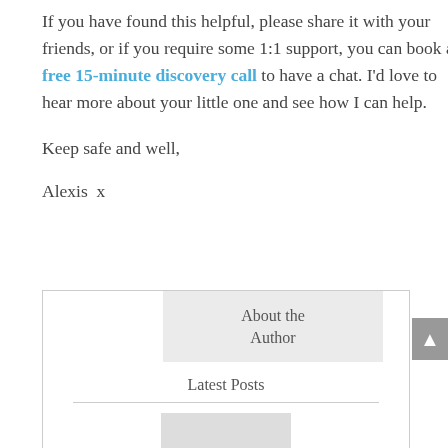If you have found this helpful, please share it with your friends, or if you require some 1:1 support, you can book a free 15-minute discovery call to have a chat. I'd love to hear more about your little one and see how I can help.
Keep safe and well,
Alexis  x
| About the Author |
| Latest Posts |
[Figure (other): Placeholder image area within author box]